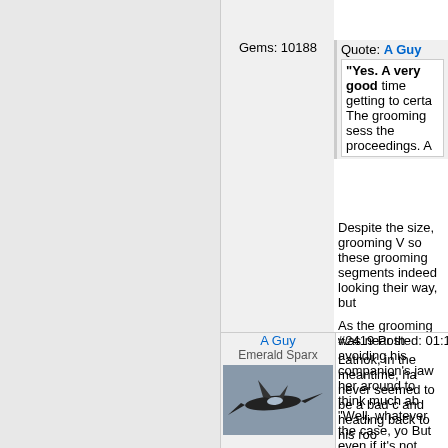Gems: 10188
Quote: A Guy
"Yes. A very good time getting to certa The grooming sess the proceedings. A
Despite the size, grooming V so these grooming segments indeed looking their way, but

As the grooming was near th avoiding his companion's jaw her around to think much ab "Well, whatever the case, yo But even if it's not everybody getting used to the idea of n attempts to approach her ev his friendship a long time ag of all people as a friend.

---
Real friends will be there... w
A Guy
Emerald Sparx
#2419 Posted: 01:19:23 12/0
Latnok, in the meantime, ha never seemed to be a bad c and heading back to his roo